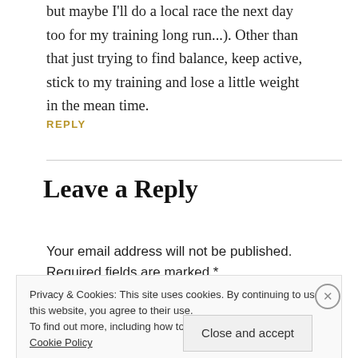but maybe I'll do a local race the next day too for my training long run...). Other than that just trying to find balance, keep active, stick to my training and lose a little weight in the mean time.
REPLY
Leave a Reply
Your email address will not be published. Required fields are marked *
Privacy & Cookies: This site uses cookies. By continuing to use this website, you agree to their use.
To find out more, including how to control cookies, see here: Cookie Policy
Close and accept